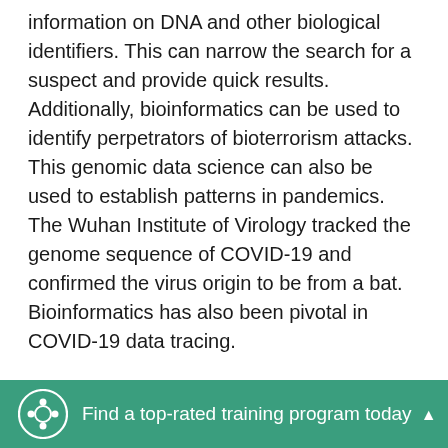information on DNA and other biological identifiers. This can narrow the search for a suspect and provide quick results. Additionally, bioinformatics can be used to identify perpetrators of bioterrorism attacks. This genomic data science can also be used to establish patterns in pandemics. The Wuhan Institute of Virology tracked the genome sequence of COVID-19 and confirmed the virus origin to be from a bat. Bioinformatics has also been pivotal in COVID-19 data tracing.
Bioinformatics in medicine. Bioinformatics serves a key purpose in the area of drug discovery, precision medicine, and gene therapy. Developments in the field have helped the
Find a top-rated training program today ▲